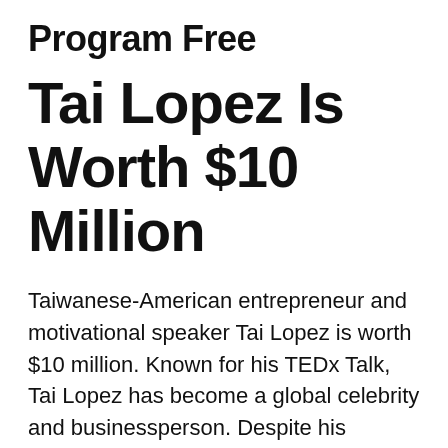Program Free
Tai Lopez Is Worth $10 Million
Taiwanese-American entrepreneur and motivational speaker Tai Lopez is worth $10 million. Known for his TEDx Talk, Tai Lopez has become a global celebrity and businessperson. Despite his controversial public appearances Tai Lopez has worked hard in building an empire through his YouTube videos and podcasts. Although some critics have accused him of being a con artist, he has been successful in marketing digital resources and building a marketable